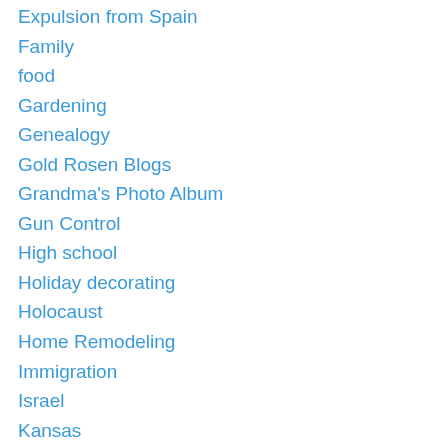Expulsion from Spain
Family
food
Gardening
Genealogy
Gold Rosen Blogs
Grandma's Photo Album
Gun Control
High school
Holiday decorating
Holocaust
Home Remodeling
Immigration
Israel
Kansas
Kansas City
Lew Wolf Goldman Family
Memories
Missouri
Music